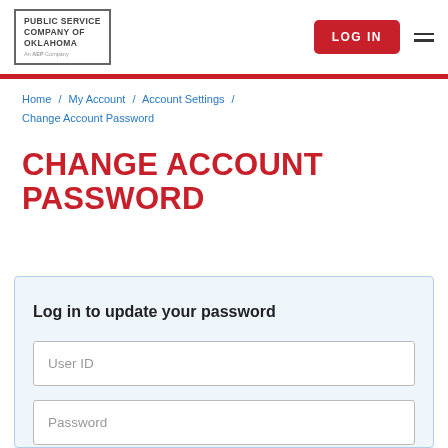[Figure (logo): Public Service Company of Oklahoma logo with AEP Company tagline and hamburger menu, plus LOG IN button]
Home / My Account / Account Settings / Change Account Password
CHANGE ACCOUNT PASSWORD
Log in to update your password
User ID
Password